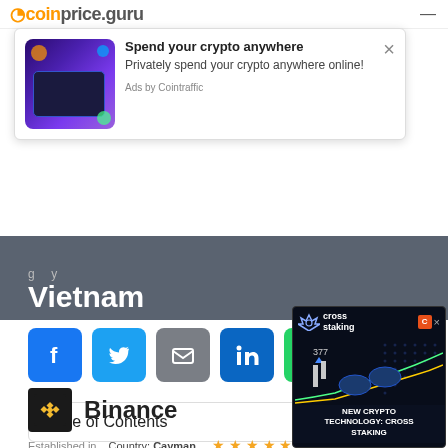coinprice.guru
[Figure (screenshot): Advertisement popup: crypto card image with text 'Spend your crypto anywhere' and 'Privately spend your crypto anywhere online!' Ads by Cointraffic]
Vietnam
[Figure (infographic): Social share buttons: Facebook, Twitter, Email, LinkedIn, WhatsApp]
Table of Contents
[Figure (screenshot): Cross staking advertisement banner with NEW CRYPTO TECHNOLOGY: CROSS STAKING text]
Binance
Established in 2017  Country: Cayman Islands  Rating: 4.5 stars